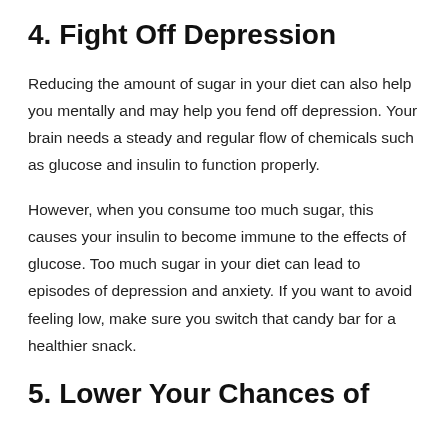4. Fight Off Depression
Reducing the amount of sugar in your diet can also help you mentally and may help you fend off depression. Your brain needs a steady and regular flow of chemicals such as glucose and insulin to function properly.
However, when you consume too much sugar, this causes your insulin to become immune to the effects of glucose. Too much sugar in your diet can lead to episodes of depression and anxiety. If you want to avoid feeling low, make sure you switch that candy bar for a healthier snack.
5. Lower Your Chances of